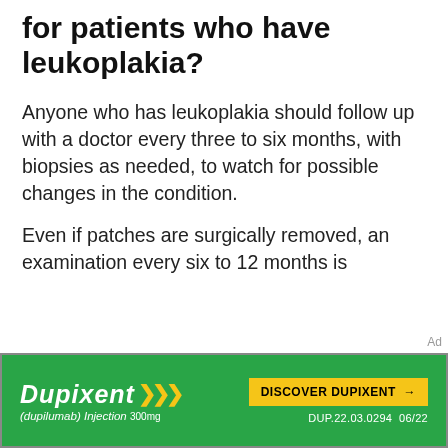for patients who have leukoplakia?
Anyone who has leukoplakia should follow up with a doctor every three to six months, with biopsies as needed, to watch for possible changes in the condition.
Even if patches are surgically removed, an examination every six to 12 months is recommended, because leukoplakia frequently returns. Treatment sites that remain free of abnormalities for three years may not need to
[Figure (infographic): Dupixent (dupilumab) injection 300mg advertisement banner with green background, yellow arrows logo, and 'Discover Dupixent' yellow button. Code: DUP.22.03.0294 06/22]